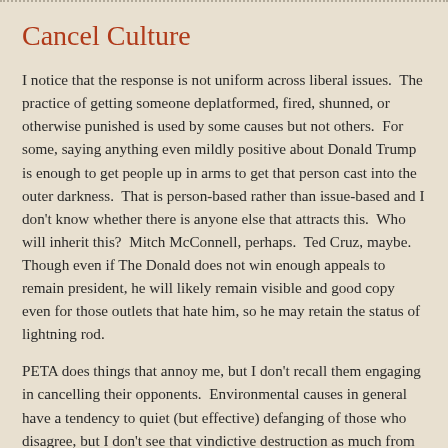Cancel Culture
I notice that the response is not uniform across liberal issues.  The practice of getting someone deplatformed, fired, shunned, or otherwise punished is used by some causes but not others.  For some, saying anything even mildly positive about Donald Trump is enough to get people up in arms to get that person cast into the outer darkness.  That is person-based rather than issue-based and I don't know whether there is anyone else that attracts this.  Who will inherit this?  Mitch McConnell, perhaps.  Ted Cruz, maybe. Though even if The Donald does not win enough appeals to remain president, he will likely remain visible and good copy even for those outlets that hate him, so he may retain the status of lightning rod.
PETA does things that annoy me, but I don't recall them engaging in cancelling their opponents.  Environmental causes in general have a tendency to quiet (but effective) defanging of those who disagree, but I don't see that vindictive destruction as much from them either.  There is